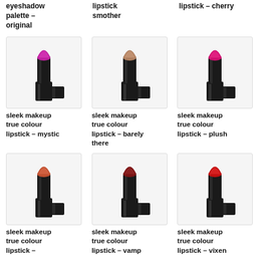eyeshadow palette – original
lipstick smother
lipstick – cherry
[Figure (photo): Sleek makeup true colour lipstick – mystic (purple/magenta lipstick with black case)]
sleek makeup true colour lipstick – mystic
[Figure (photo): Sleek makeup true colour lipstick – barely there (nude/brown lipstick with black case)]
sleek makeup true colour lipstick – barely there
[Figure (photo): Sleek makeup true colour lipstick – plush (hot pink/fuchsia lipstick with black case)]
sleek makeup true colour lipstick – plush
[Figure (photo): Sleek makeup true colour lipstick – (coral/orange-red lipstick with black case)]
sleek makeup true colour lipstick –
[Figure (photo): Sleek makeup true colour lipstick – vamp (dark red/burgundy lipstick with black case)]
sleek makeup true colour lipstick – vamp
[Figure (photo): Sleek makeup true colour lipstick – vixen (red lipstick with black case)]
sleek makeup true colour lipstick – vixen